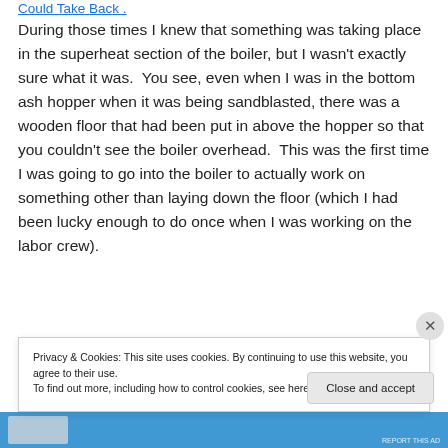Could Take Back .
During those times I knew that something was taking place in the superheat section of the boiler, but I wasn't exactly sure what it was.  You see, even when I was in the bottom ash hopper when it was being sandblasted, there was a wooden floor that had been put in above the hopper so that you couldn't see the boiler overhead.  This was the first time I was going to go into the boiler to actually work on something other than laying down the floor (which I had been lucky enough to do once when I was working on the labor crew).
Privacy & Cookies: This site uses cookies. By continuing to use this website, you agree to their use.
To find out more, including how to control cookies, see here: Cookie Policy